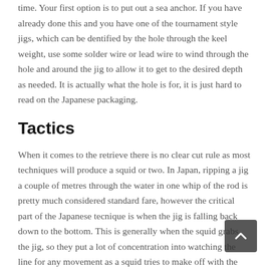time. Your first option is to put out a sea anchor. If you have already done this and you have one of the tournament style jigs, which can be dentified by the hole through the keel weight, use some solder wire or lead wire to wind through the hole and around the jig to allow it to get to the desired depth as needed. It is actually what the hole is for, it is just hard to read on the Japanese packaging.
Tactics
When it comes to the retrieve there is no clear cut rule as most techniques will produce a squid or two. In Japan, ripping a jig a couple of metres through the water in one whip of the rod is pretty much considered standard fare, however the critical part of the Japanese tecnique is when the jig is falling back down to the bottom. This is generally when the squid grabs the jig, so they put a lot of concentration into watching the line for any movement as a squid tries to make off with the lure. Once this is spotted the jig is set with a firm strike and then fought